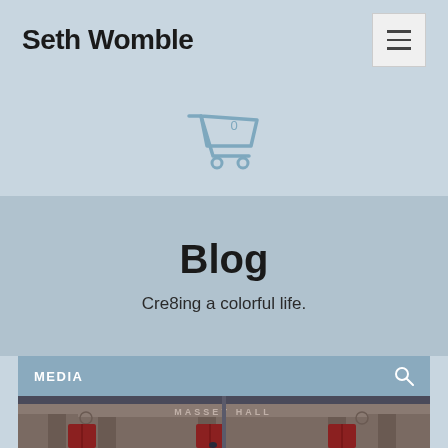Seth Womble
[Figure (other): Shopping cart icon with '0' badge]
Blog
Cre8ing a colorful life.
MEDIA
[Figure (photo): Massey Hall building exterior with red doors, stone facade and pillars, person walking in front]